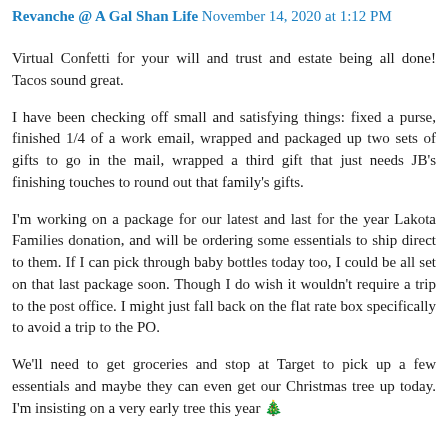Revanche @ A Gal Shan Life November 14, 2020 at 1:12 PM
Virtual Confetti for your will and trust and estate being all done! Tacos sound great.
I have been checking off small and satisfying things: fixed a purse, finished 1/4 of a work email, wrapped and packaged up two sets of gifts to go in the mail, wrapped a third gift that just needs JB's finishing touches to round out that family's gifts.
I'm working on a package for our latest and last for the year Lakota Families donation, and will be ordering some essentials to ship direct to them. If I can pick through baby bottles today too, I could be all set on that last package soon. Though I do wish it wouldn't require a trip to the post office. I might just fall back on the flat rate box specifically to avoid a trip to the PO.
We'll need to get groceries and stop at Target to pick up a few essentials and maybe they can even get our Christmas tree up today. I'm insisting on a very early tree this year 🎄